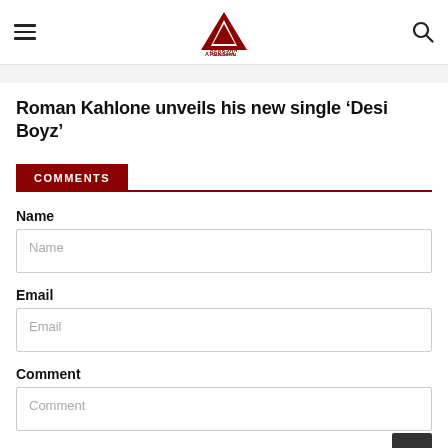Apeksha Sandesh — navigation header with hamburger menu, logo, and search icon
Roman Kahlone unveils his new single 'Desi Boyz'
COMMENTS
Name
Email
Comment